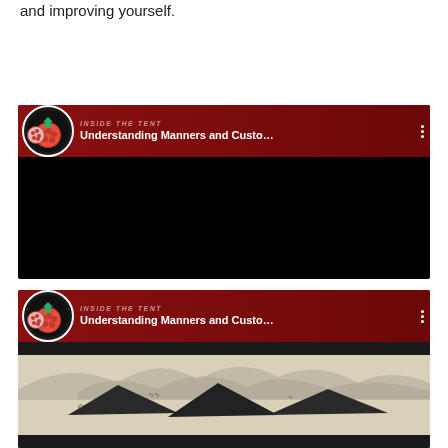and improving yourself.
[Figure (screenshot): YouTube video thumbnail showing 'Inside the Tent' channel with pomegranate logo, titled 'Understanding Manners and Custo...' with a black and white illustration of a Bedouin Goats'-Hair Tent and a play button in the center.]
[Figure (screenshot): Second YouTube video thumbnail showing same 'Inside the Tent' channel with pomegranate logo, titled 'Understanding Manners and Custo...' partially visible, showing beginning of the same Bedouin tent illustration.]